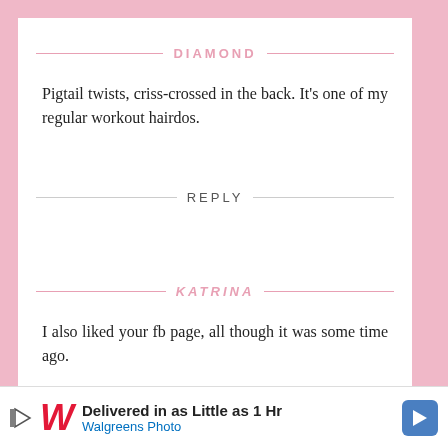DIAMOND
Pigtail twists, criss-crossed in the back. It's one of my regular workout hairdos.
REPLY
KATRINA
I also liked your fb page, all though it was some time ago.
[Figure (other): Walgreens Photo advertisement banner: 'Delivered in as Little as 1 Hr / Walgreens Photo' with play button icon and blue navigation arrow icon]